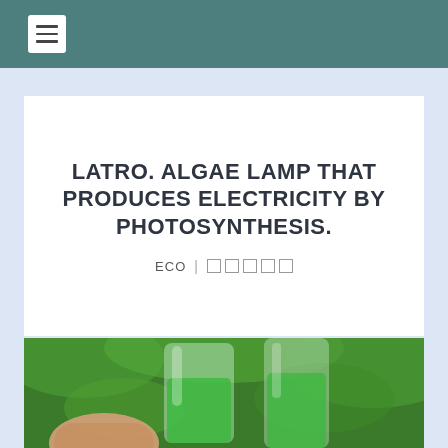LATRO. ALGAE LAMP THAT PRODUCES ELECTRICITY BY PHOTOSYNTHESIS.
ECO | □ □ □ □ □
[Figure (photo): Hand holding a glass flask filled with green algae liquid, with green foliage in the background]